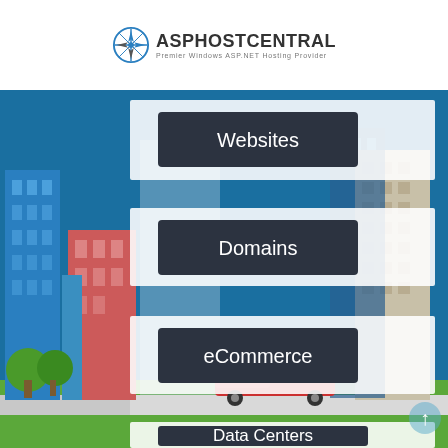[Figure (logo): ASPHostCentral logo with compass icon and tagline 'Premier Windows ASP.NET Hosting Provider']
[Figure (infographic): City skyline background infographic with semi-transparent white cards each containing a dark button label: Websites, Domains, eCommerce, Data Centers]